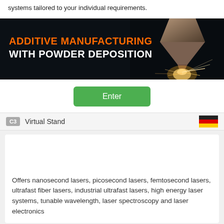systems tailored to your individual requirements.
[Figure (photo): Dark banner image showing a laser powder deposition nozzle with sparks, titled 'ADDITIVE MANUFACTURING WITH POWDER DEPOSITION']
Enter
C3  Virtual Stand
Offers nanosecond lasers, picosecond lasers, femtosecond lasers, ultrafast fiber lasers, industrial ultrafast lasers, high energy laser systems, tunable wavelength, laser spectroscopy and laser electronics